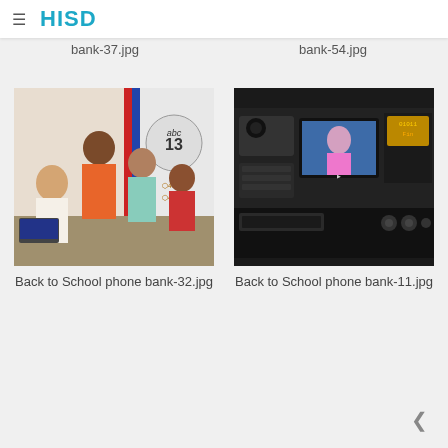HISD
Back to School phone bank-37.jpg
Back to School phone bank-54.jpg
[Figure (photo): Group of four people seated at a table with ABC 13 and Univision 45 banners in background, appearing to be at a phone bank event]
[Figure (photo): Close-up of professional video camera equipment with a small monitor screen showing a woman in pink clothing]
Back to School phone bank-32.jpg
Back to School phone bank-11.jpg